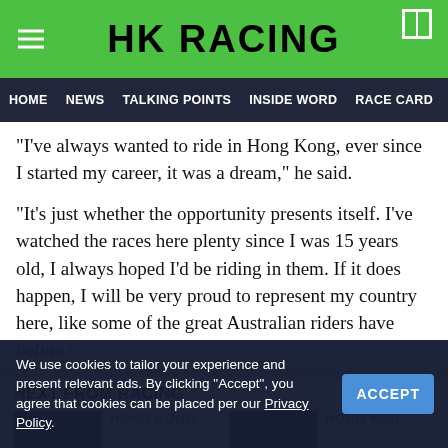HK RACING
HOME  NEWS  TALKING POINTS  INSIDE WORD  RACE CARD  RACE RESULTS
“I’ve always wanted to ride in Hong Kong, ever since I started my career, it was a dream,” he said.
“It’s just whether the opportunity presents itself. I’ve watched the races here plenty since I was 15 years old, I always hoped I’d be riding in them. If it does happen, I will be very proud to represent my country here, like some of the great Australian riders have before.”
NEXT FROM RACING
HONG KONG
HONG KONG
We use cookies to tailor your experience and present relevant ads. By clicking “Accept”, you agree that cookies can be placed per our Privacy Policy.